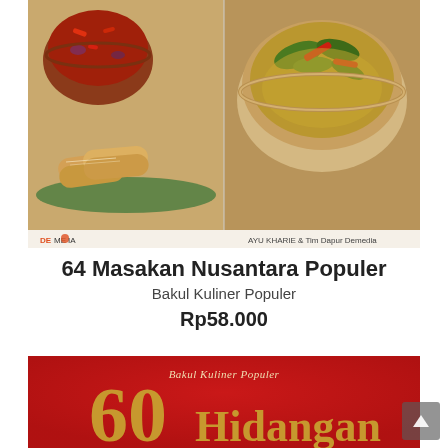[Figure (photo): Book cover of '64 Masakan Nusantara Populer' showing two Indonesian food dishes - fried spring rolls and a bowl of curry/gulai, published by Demedia, authored by Ayu Kharie & Tim Dapur Demedia]
64 Masakan Nusantara Populer
Bakul Kuliner Populer
Rp58.000
[Figure (photo): Book cover of '60 Hidangan' from Bakul Kuliner Populer series, red background with gold decorative typography showing '60 Hidangan']